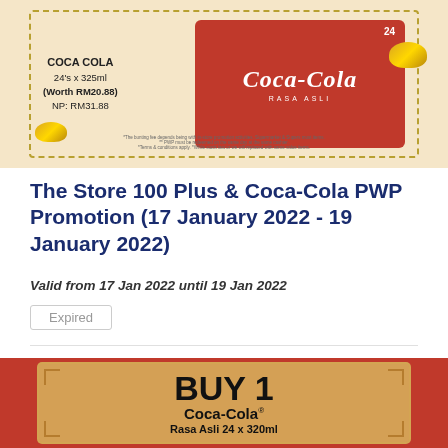[Figure (photo): Promotional image for Coca-Cola 24's x 325ml worth RM20.88, NP: RM31.88, with dashed border, Coca-Cola cans in red packaging, and gold ingot decorations on a beige/gold background.]
The Store 100 Plus & Coca-Cola PWP Promotion (17 January 2022 - 19 January 2022)
Valid from 17 Jan 2022 until 19 Jan 2022
Expired
[Figure (photo): Promotional banner with red background and gold/tan card showing BUY 1 Coca-Cola Rasa Asli 24 x 320ml with decorative corner borders.]